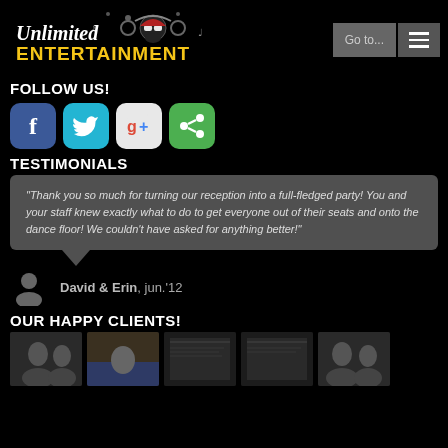[Figure (logo): Unlimited Entertainment logo with stylized DJ figure, music notes, and gold/white text]
FOLLOW US!
[Figure (infographic): Social media icons: Facebook (blue f), Twitter (teal bird), Google+ (multicolor g+), Share (green share icon)]
TESTIMONIALS
"Thank you so much for turning our reception into a full-fledged party! You and your staff knew exactly what to do to get everyone out of their seats and onto the dance floor! We couldn't have asked for anything better!"
David & Erin, jun.'12
OUR HAPPY CLIENTS!
[Figure (photo): Five small thumbnail photos of happy clients]